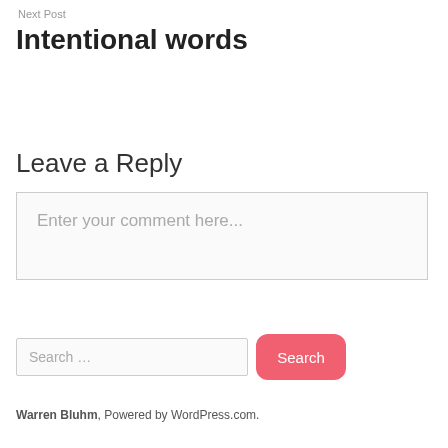Next Post
Intentional words
Leave a Reply
Enter your comment here...
Search …
Warren Bluhm, Powered by WordPress.com.